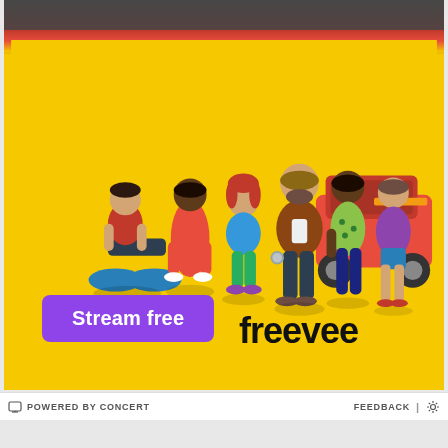[Figure (photo): Freevee streaming service advertisement showing six characters standing in front of a yellow background with a red car. Characters include a man crouching on a motorcycle, a man in red tracksuit, a woman in green pants and denim jacket, a man in brown leather jacket holding handcuffs, a woman in green floral dress, and a woman in purple jacket. Below the characters is a purple 'Stream free' button and the 'freevee' logo in black text.]
POWERED BY CONCERT   FEEDBACK | ⚙